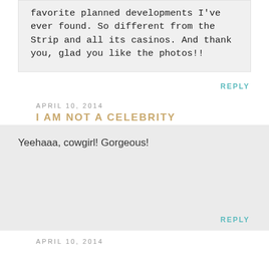favorite planned developments I've ever found. So different from the Strip and all its casinos. And thank you, glad you like the photos!!
REPLY
APRIL 10, 2014
I AM NOT A CELEBRITY
Yeehaaa, cowgirl! Gorgeous!
REPLY
APRIL 10, 2014